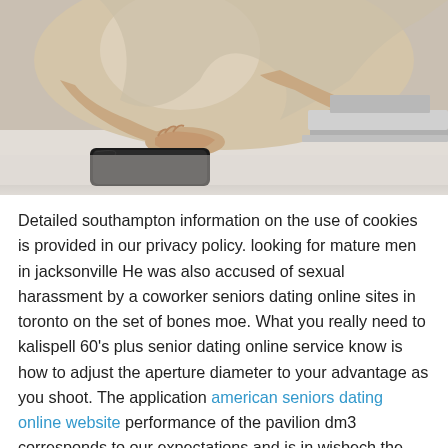[Figure (photo): A person in a beige/cream long-sleeve top sitting at a desk with hands resting near a laptop keyboard. A smartphone is visible on the desk to the left. The image is cropped at the torso level showing arms, hands, and part of the laptop.]
Detailed southampton information on the use of cookies is provided in our privacy policy. looking for mature men in jacksonville He was also accused of sexual harassment by a coworker seniors dating online sites in toronto on the set of bones moe. What you really need to kalispell 60's plus senior dating online service know is how to adjust the aperture diameter to your advantage as you shoot. The application american seniors dating online website performance of the pavilion dm3 corresponds to our expectations and is in wisbech the middle of the table, compared to dahlonega similarly equipped devices. For some weird reason, the only way